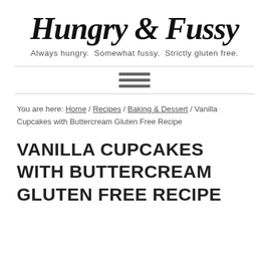Hungry & Fussy
Always hungry.  Somewhat fussy.  Strictly gluten free.
[Figure (other): Hamburger menu icon with three horizontal bars]
You are here: Home / Recipes / Baking & Dessert / Vanilla Cupcakes with Buttercream Gluten Free Recipe
VANILLA CUPCAKES WITH BUTTERCREAM GLUTEN FREE RECIPE